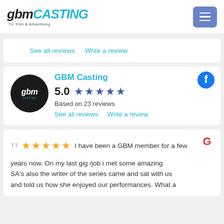[Figure (logo): GBM Casting logo with text 'gbm CASTING TV, Film & Advertising' and a hamburger menu button]
See all reviews   Write a review
GBM Casting
5.0 ★★★★★
Based on 23 reviews
See all reviews   Write a review
I have been a GBM member for a few years now. On my last gig /job i met some amazing SA's also the writer of the series came and sat with us and told us how she enjoyed our performances. What a ... GBM!